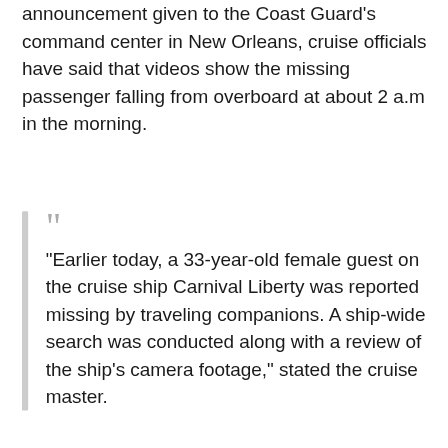announcement given to the Coast Guard's command center in New Orleans, cruise officials have said that videos show the missing passenger falling from overboard at about 2 a.m in the morning.
“Earlier today, a 33-year-old female guest on the cruise ship Carnival Liberty was reported missing by traveling companions. A ship-wide search was conducted along with a review of the ship’s camera footage,” stated the cruise master.
Source: Fox News
Shop Now
[Figure (photo): Red product box image (partial, cropped at bottom)]
[Figure (photo): Book cover: PRACTICAL ELECTRONICS]